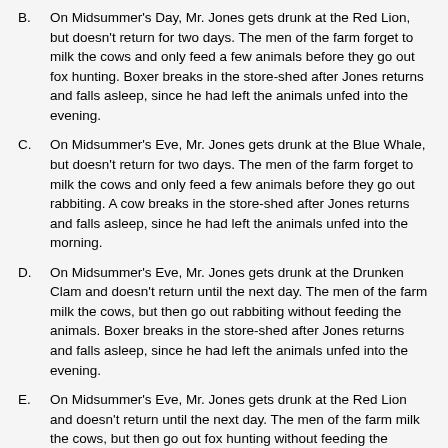B. On Midsummer's Day, Mr. Jones gets drunk at the Red Lion, but doesn't return for two days. The men of the farm forget to milk the cows and only feed a few animals before they go out fox hunting. Boxer breaks in the store-shed after Jones returns and falls asleep, since he had left the animals unfed into the evening.
C. On Midsummer's Eve, Mr. Jones gets drunk at the Blue Whale, but doesn't return for two days. The men of the farm forget to milk the cows and only feed a few animals before they go out rabbiting. A cow breaks in the store-shed after Jones returns and falls asleep, since he had left the animals unfed into the morning.
D. On Midsummer's Eve, Mr. Jones gets drunk at the Drunken Clam and doesn't return until the next day. The men of the farm milk the cows, but then go out rabbiting without feeding the animals. Boxer breaks in the store-shed after Jones returns and falls asleep, since he had left the animals unfed into the evening.
E. On Midsummer's Eve, Mr. Jones gets drunk at the Red Lion and doesn't return until the next day. The men of the farm milk the cows, but then go out fox hunting without feeding the animals. Boxer breaks in the store-shed after Jones returns and falls asleep, since he had left the animals unfed into the evening.